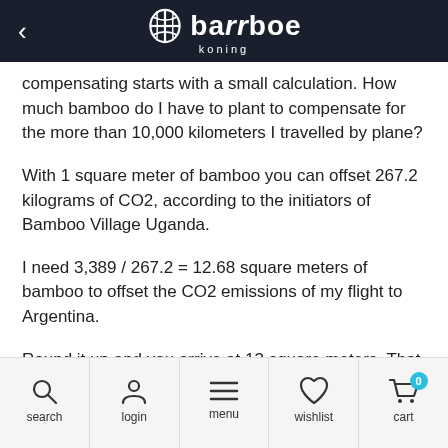bamboe koning
compensating starts with a small calculation. How much bamboo do I have to plant to compensate for the more than 10,000 kilometers I travelled by plane?
With 1 square meter of bamboo you can offset 267.2 kilograms of CO2, according to the initiators of Bamboo Village Uganda.
I need 3,389 / 267.2 = 12.68 square meters of bamboo to offset the CO2 emissions of my flight to Argentina.
Round it up and you arrive at 13 square meters. That costs €69.42 at Bamboo Village Uganda. With this amount Bamboo Village Uganda provides the planting and maintenance of bamboo and build houses for the inhabitants of the village. Incidentally, you also have the option of doubling or even tripling your contribution, in order to
search  login  menu  wishlist  cart